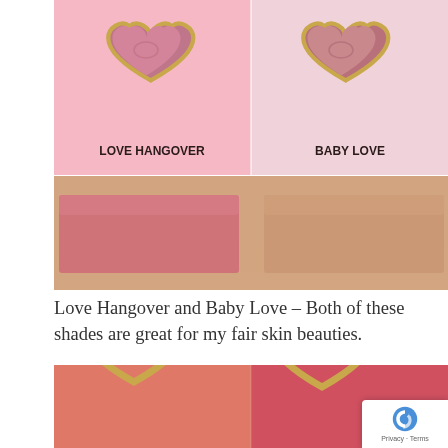[Figure (photo): Two heart-shaped blush compacts side by side: 'Love Hangover' on a pink background (left) and 'Baby Love' on a light pink background (right), with color swatches below showing the applied shades on skin]
Love Hangover and Baby Love – Both of these shades are great for my fair skin beauties.
[Figure (photo): Two heart-shaped blush compacts partially visible on coral/red backgrounds, bottom portion of page]